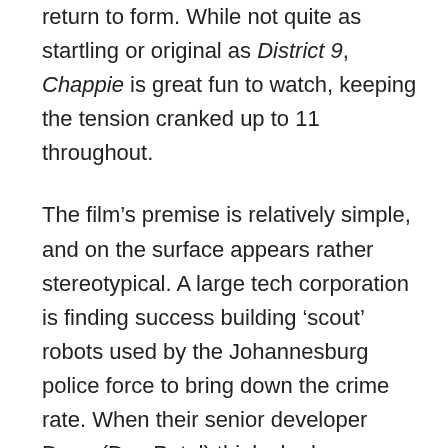return to form. While not quite as startling or original as District 9, Chappie is great fun to watch, keeping the tension cranked up to 11 throughout.
The film's premise is relatively simple, and on the surface appears rather stereotypical. A large tech corporation is finding success building 'scout' robots used by the Johannesburg police force to bring down the crime rate. When their senior developer Deon (Dev Patel) thinks he has cracked true AI, he steals a robot marked for the trash heap. But